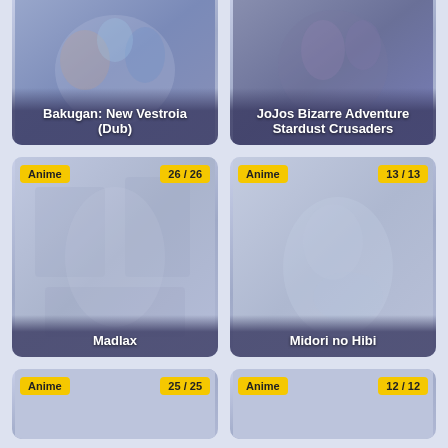[Figure (illustration): Anime card for Bakugan: New Vestroia (Dub) with colorful anime characters on a blue-purple background]
[Figure (illustration): Anime card for JoJos Bizarre Adventure Stardust Crusaders with dark-themed anime characters]
[Figure (illustration): Anime card for Madlax with badge showing Anime and 26/26, faded anime artwork]
[Figure (illustration): Anime card for Midori no Hibi with badge showing Anime and 13/13, faded anime artwork]
[Figure (illustration): Partial anime card with badge showing Anime and 25/25]
[Figure (illustration): Partial anime card with badge showing Anime and 12/12]